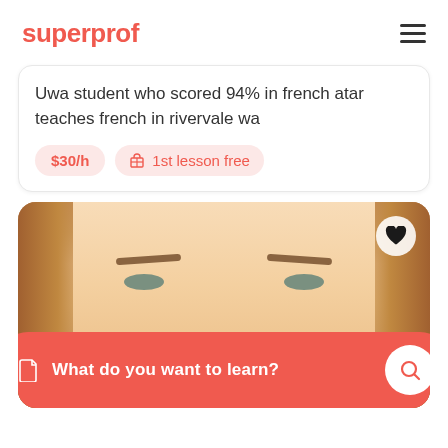superprof
Uwa student who scored 94% in french atar teaches french in rivervale wa
$30/h
1st lesson free
[Figure (photo): Close-up photo of a young woman with curly reddish-blonde hair, smiling, with a heart/favorite button in the top right corner of the image]
What do you want to learn?